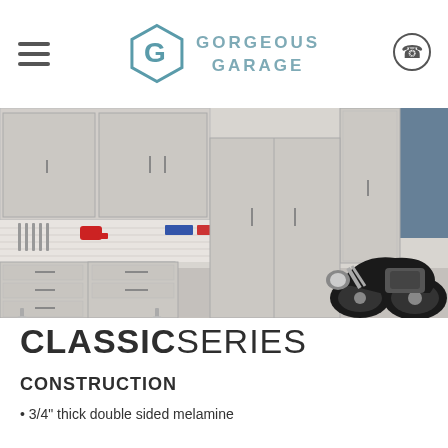Gorgeous Garage
[Figure (photo): Garage interior with grey cabinets, pegboard wall with tools, and a black motorcycle parked on a speckled floor]
CLASSIC SERIES
CONSTRUCTION
3/4" thick double sided melamine